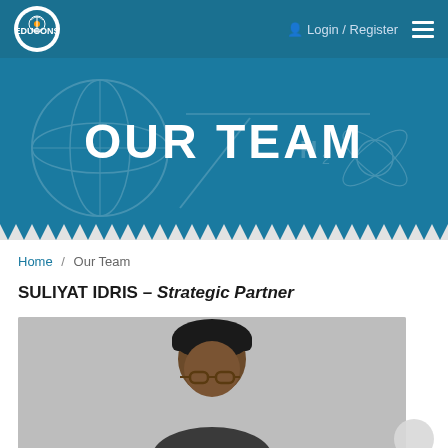Login / Register
OUR TEAM
Home / Our Team
SULIYAT IDRIS – Strategic Partner
[Figure (photo): Portrait photo of Suliyat Idris against a gray background, woman wearing glasses and a dark head covering]